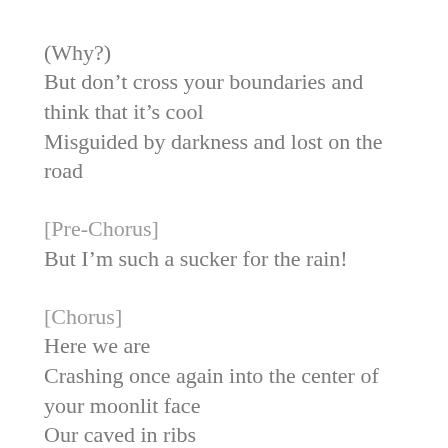(Why?)
But don’t cross your boundaries and think that it’s cool
Misguided by darkness and lost on the road
[Pre-Chorus]
But I’m such a sucker for the rain!
[Chorus]
Here we are
Crashing once again into the center of your moonlit face
Our caved in ribs
Your tears they fall on my tongue